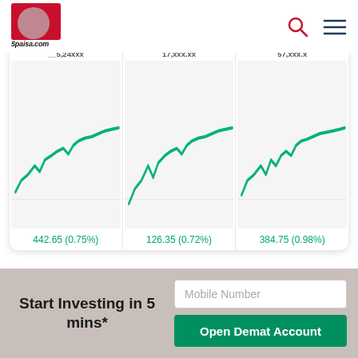5paisa.com header with search and menu icons
[Figure (line-chart): Green line chart showing upward trend, value partially visible at top (~5,24xxx), change: 442.65 (0.75%)]
[Figure (line-chart): Green line chart showing upward trend, value ~17,xxx.xx, change: 126.35 (0.72%)]
[Figure (line-chart): Green line chart showing upward trend, value ~57,xxx.x, change: 384.75 (0.98%)]
Share Market  +
Market Guide  +
Mutual Funds  +
Calculators  +
Start Investing in 5 mins*
Mobile Number
Open Demat Account